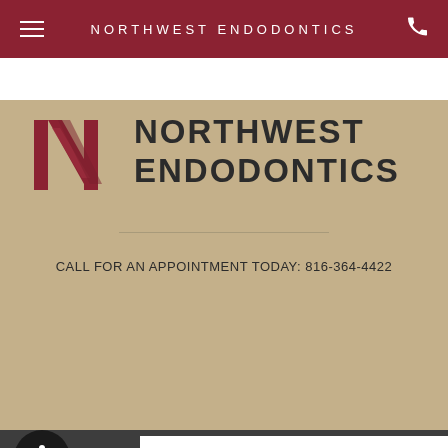NORTHWEST ENDODONTICS
[Figure (logo): Northwest Endodontics logo: stylized N letter mark in dark red/crimson with diagonal stripe]
NORTHWEST ENDODONTICS
CALL FOR AN APPOINTMENT TODAY: 816-364-4422
CRACKED TEETH